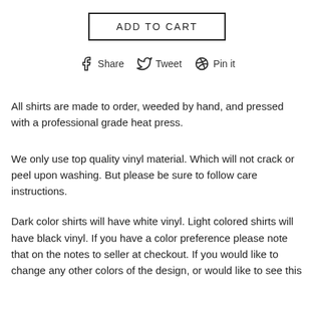ADD TO CART
[Figure (infographic): Social sharing buttons: Facebook Share, Twitter Tweet, Pinterest Pin it]
All shirts are made to order, weeded by hand, and pressed with a professional grade heat press.
We only use top quality vinyl material. Which will not crack or peel upon washing. But please be sure to follow care instructions.
Dark color shirts will have white vinyl. Light colored shirts will have black vinyl. If you have a color preference please note that on the notes to seller at checkout. If you would like to change any other colors of the design, or would like to see this